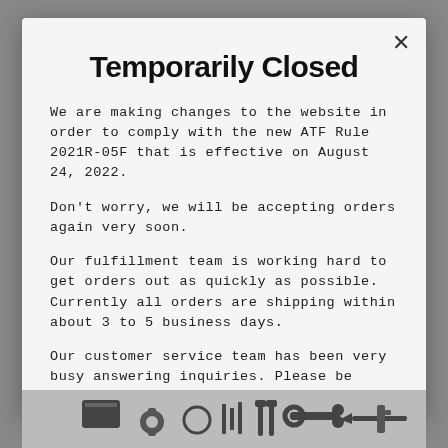Temporarily Closed
We are making changes to the website in order to comply with the new ATF Rule 2021R-05F that is effective on August 24, 2022.
Don't worry, we will be accepting orders again very soon.
Our fulfillment team is working hard to get orders out as quickly as possible. Currently all orders are shipping within about 3 to 5 business days.
Our customer service team has been very busy answering inquiries.  Please be patient as we work through voicemails, emails, and chats.
[Figure (photo): Bottom strip showing silhouettes of tools and equipment on a gray background]